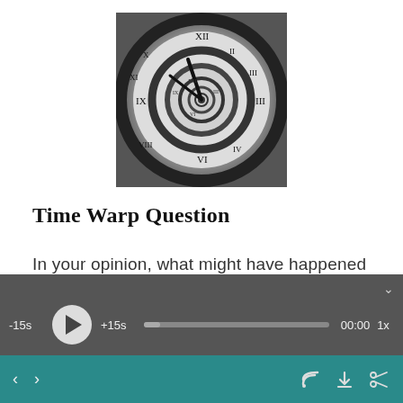[Figure (illustration): Black and white spiral clock image — a surreal clock face with Roman numerals spiraling inward, clock hands visible, artistic/editorial illustration]
Time Warp Question
In your opinion, what might have happened
[Figure (screenshot): Audio player control bar with -15s skip, play button, +15s skip, progress bar showing 00:00, and 1x speed control on dark grey background]
[Figure (screenshot): Bottom navigation bar in teal color with left/right arrow navigation buttons on left, and RSS feed, download, and scissors icons on right]